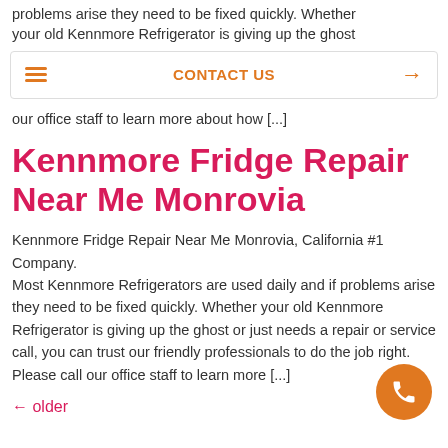problems arise they need to be fixed quickly. Whether your old Kennmore Refrigerator is giving up the ghost
CONTACT US →
our office staff to learn more about how [...]
Kennmore Fridge Repair Near Me Monrovia
Kennmore Fridge Repair Near Me Monrovia, California #1 Company.
Most Kennmore Refrigerators are used daily and if problems arise they need to be fixed quickly. Whether your old Kennmore Refrigerator is giving up the ghost or just needs a repair or service call, you can trust our friendly professionals to do the job right. Please call our office staff to learn more [...]
← older